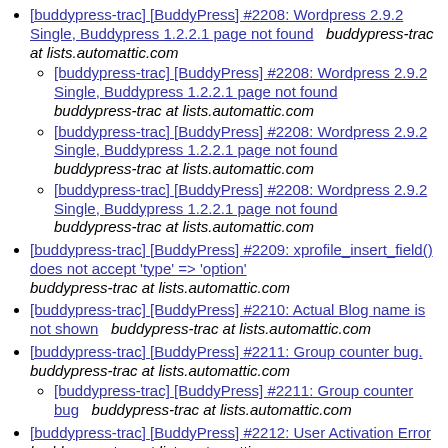[buddypress-trac] [BuddyPress] #2208: Wordpress 2.9.2 Single, Buddypress 1.2.2.1 page not found   buddypress-trac at lists.automattic.com
[buddypress-trac] [BuddyPress] #2208: Wordpress 2.9.2 Single, Buddypress 1.2.2.1 page not found buddypress-trac at lists.automattic.com
[buddypress-trac] [BuddyPress] #2208: Wordpress 2.9.2 Single, Buddypress 1.2.2.1 page not found buddypress-trac at lists.automattic.com
[buddypress-trac] [BuddyPress] #2208: Wordpress 2.9.2 Single, Buddypress 1.2.2.1 page not found buddypress-trac at lists.automattic.com
[buddypress-trac] [BuddyPress] #2209: xprofile_insert_field() does not accept 'type' => 'option' buddypress-trac at lists.automattic.com
[buddypress-trac] [BuddyPress] #2210: Actual Blog name is not shown   buddypress-trac at lists.automattic.com
[buddypress-trac] [BuddyPress] #2211: Group counter bug.  buddypress-trac at lists.automattic.com
[buddypress-trac] [BuddyPress] #2211: Group counter bug   buddypress-trac at lists.automattic.com
[buddypress-trac] [BuddyPress] #2212: User Activation Error   buddypress-trac at lists.automattic.com
[buddypress-trac] [BuddyPress] #2213: BP 1.1 group wire posts in BP 1.2 group activity gets placed in the wrong group